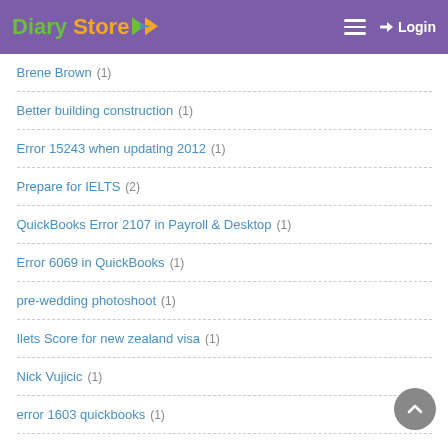Diary Store | Login
Brene Brown (1)
Better building construction (1)
Error 15243 when updating 2012 (1)
Prepare for IELTS (2)
QuickBooks Error 2107 in Payroll & Desktop (1)
Error 6069 in QuickBooks (1)
pre-wedding photoshoot (1)
Ilets Score for new zealand visa (1)
Nick Vujicic (1)
error 1603 quickbooks (1)
Netgear Support Number (1)
QuickBooks error 213 (1)